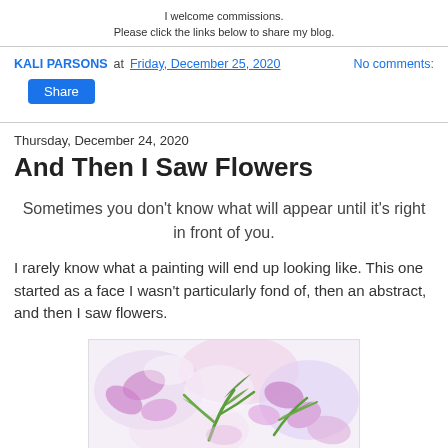I welcome commissions.
Please click the links below to share my blog.
KALI PARSONS at Friday, December 25, 2020   No comments:
Share
Thursday, December 24, 2020
And Then I Saw Flowers
Sometimes you don't know what will appear until it's right in front of you.
I rarely know what a painting will end up looking like. This one started as a face I wasn't particularly fond of, then an abstract, and then I saw flowers.
[Figure (photo): A painting of abstract flowers with pink/purple petals and green leaves on a white background.]